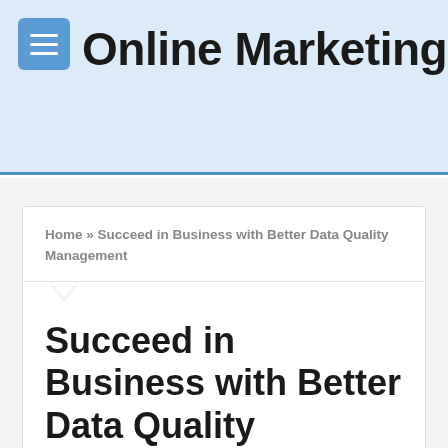Online Marketing Blog
Home » Succeed in Business with Better Data Quality Management
Succeed in Business with Better Data Quality Management